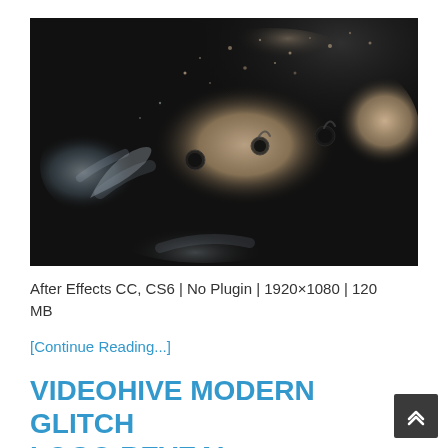[Figure (photo): Close-up macro photograph of ink or dye dissolving in water against a dark/black background, showing billowing cloud-like formations in beige, tan, and grey tones with dark circular droplets visible]
After Effects CC, CS6 | No Plugin | 1920×1080 | 120 MB
[Continue Reading...]
VIDEOHIVE MODERN GLITCH LOGO REVEAL